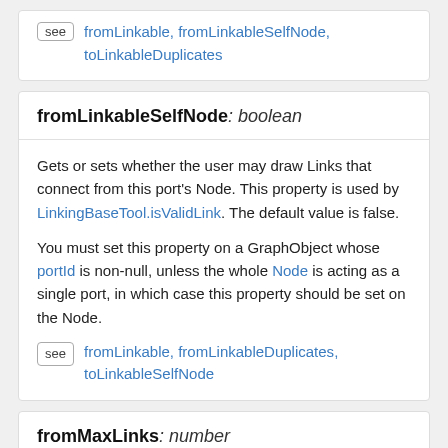see fromLinkable, fromLinkableSelfNode, toLinkableDuplicates
fromLinkableSelfNode: boolean
Gets or sets whether the user may draw Links that connect from this port's Node. This property is used by LinkingBaseTool.isValidLink. The default value is false.
You must set this property on a GraphObject whose portId is non-null, unless the whole Node is acting as a single port, in which case this property should be set on the Node.
see fromLinkable, fromLinkableDuplicates, toLinkableSelfNode
fromMaxLinks: number
Gets or sets the maximum number of links that may come out of this port. This property is used by LinkingBaseTool.isValidFrom